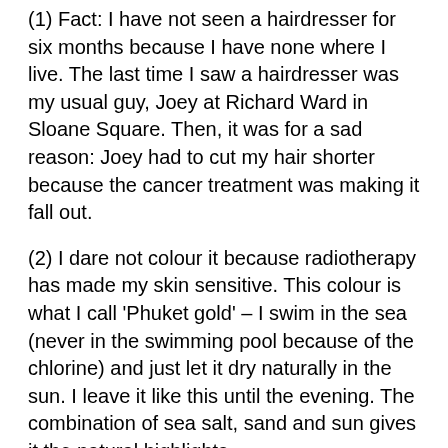(1) Fact: I have not seen a hairdresser for six months because I have none where I live. The last time I saw a hairdresser was my usual guy, Joey at Richard Ward in Sloane Square. Then, it was for a sad reason: Joey had to cut my hair shorter because the cancer treatment was making it fall out.
(2) I dare not colour it because radiotherapy has made my skin sensitive. This colour is what I call 'Phuket gold' – I swim in the sea (never in the swimming pool because of the chlorine) and just let it dry naturally in the sun. I leave it like this until the evening. The combination of sea salt, sand and sun gives it the natural highlights.
(3) Sulphates in shampoo. That's what makes hair brassy, dry and brittle!!! Use sulphate-free shampoo. I ...